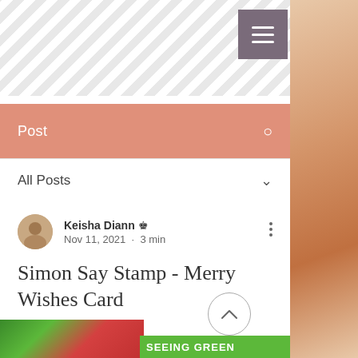[Figure (screenshot): Diagonal grey and white striped header background with hamburger menu button in dark purple/grey]
Post
All Posts
Keisha Diann · Nov 11, 2021 · 3 min
Simon Say Stamp - Merry Wishes Card
Updated: Nov 18, 2021
[Figure (photo): Bottom strip showing green glitter and red/white striped fabric with green label SEEING GREEN]